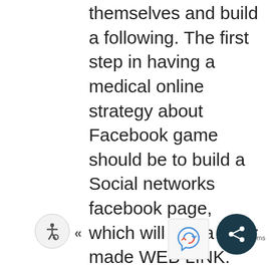themselves and build a following. The first step in having a medical online strategy about Facebook game should be to build a Social networks facebook page, which will has a tailor made WEB LINK. Enthusiast pages are free and easy to put together, enabling you to create a custom? homepage? of forms on Facebook or myspace. There will be multimedia systems elements and public networking tools on Facebook or myspace fan internet pages that produce it simpler for you to hook up with other folks and build a promotional printed presence. For instance , you can add videos and images, fans can comment on photos, and you will announce incidents and let people RSVP on the site Any kind of Social networks users can join/subscribe to your supporter page. A